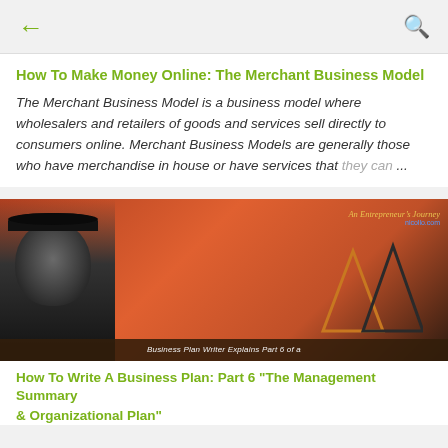← [back arrow]  [search icon]
How To Make Money Online: The Merchant Business Model
The Merchant Business Model is a business model where wholesalers and retailers of goods and services sell directly to consumers online. Merchant Business Models are generally those who have merchandise in house or have services that they can ...
[Figure (photo): Video thumbnail showing a man wearing a dark cap against a red/brown gradient background with triangle graphics on the right side. Text overlay reads 'An Entrepreneur's Journey' and bottom banner reads 'Business Plan Writer Explains Part 6 of a'.]
How To Write A Business Plan: Part 6 "The Management Summary & Organizational Plan"